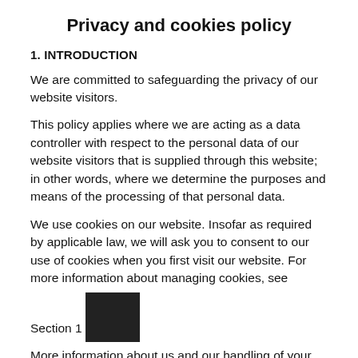Privacy and cookies policy
1. INTRODUCTION
We are committed to safeguarding the privacy of our website visitors.
This policy applies where we are acting as a data controller with respect to the personal data of our website visitors that is supplied through this website; in other words, where we determine the purposes and means of the processing of that personal data.
We use cookies on our website. Insofar as required by applicable law, we will ask you to consent to our use of cookies when you first visit our website. For more information about managing cookies, see Section 1[redacted]
More information about us and our handling of your